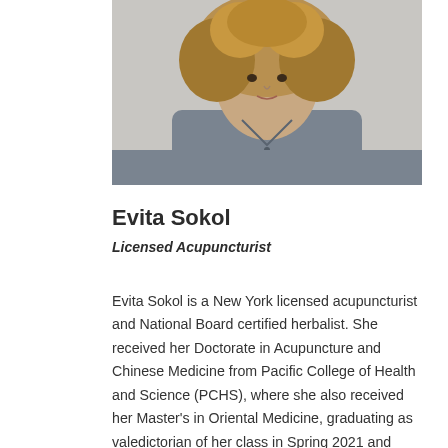[Figure (photo): Headshot portrait of Evita Sokol, a woman with curly highlighted hair wearing a grey button-up top, photographed against a light background.]
Evita Sokol
Licensed Acupuncturist
Evita Sokol is a New York licensed acupuncturist and National Board certified herbalist. She received her Doctorate in Acupuncture and Chinese Medicine from Pacific College of Health and Science (PCHS), where she also received her Master's in Oriental Medicine, graduating as valedictorian of her class in Spring 2021 and recipient of the Kamwo award for